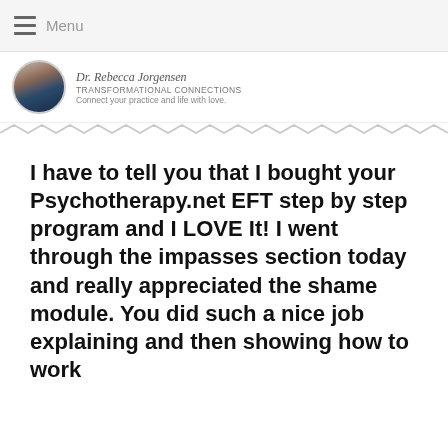Menu
[Figure (photo): Profile photo of Dr. Rebecca Jorgensen with name, brand TRANSFORMATIONAL CONNECTIONS, and tagline Connect your practice and life with love.]
I have to tell you that I bought your Psychotherapy.net EFT step by step program and I LOVE It! I went through the impasses section today and really appreciated the shame module. You did such a nice job explaining and then showing how to work